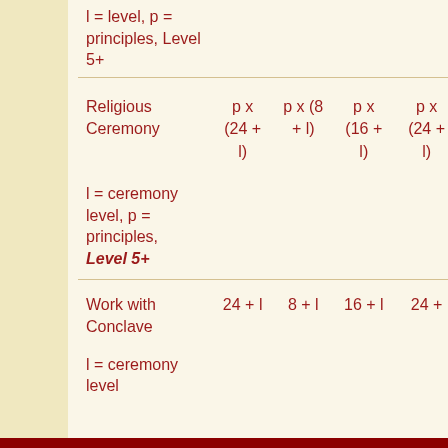l = level, p = principles, Level 5+
|  | col1 | col2 | col3 | col4 |
| --- | --- | --- | --- | --- |
| Religious Ceremony | p x (24 + l) | p x (8 + l) | p x (16 + l) | p x (24 + l) |
| l = ceremony level, p = principles, Level 5+ |  |  |  |  |
| Work with Conclave | 24 + l | 8 + l | 16 + l | 24 + |
| l = ceremony level |  |  |  |  |